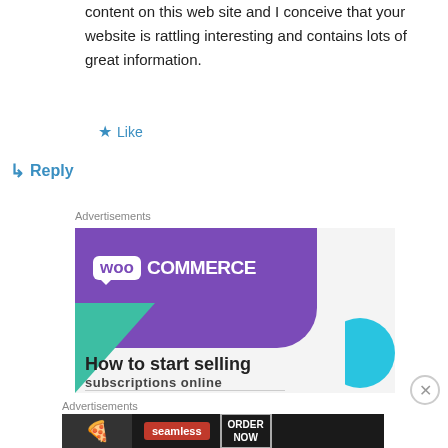content on this web site and I conceive that your website is rattling interesting and contains lots of great information.
★ Like
↳ Reply
Advertisements
[Figure (illustration): WooCommerce advertisement banner showing purple speech-bubble logo, green triangle shape, cyan circle, and text 'How to start selling subscriptions online']
Advertisements
[Figure (illustration): Seamless food delivery advertisement banner showing pizza image, red seamless logo, and ORDER NOW button]